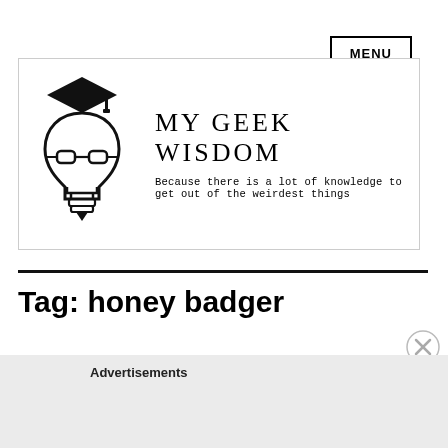MENU
[Figure (logo): My Geek Wisdom logo: lightbulb with graduation cap and glasses, beside text 'MY GEEK WISDOM' and tagline 'Because there is a lot of knowledge to get out of the weirdest things']
Tag: honey badger
Advertisements